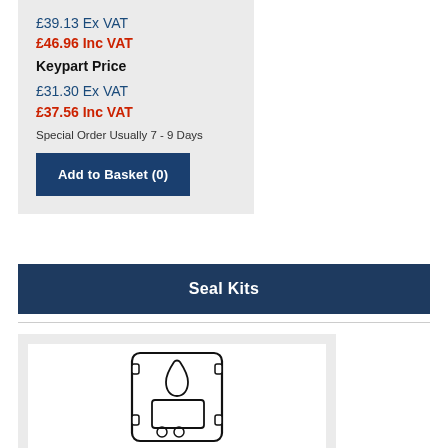£39.13 Ex VAT
£46.96 Inc VAT
Keypart Price
£31.30 Ex VAT
£37.56 Inc VAT
Special Order Usually 7 - 9 Days
Add to Basket (0)
Seal Kits
[Figure (illustration): Outline drawing of a seal kit gasket component]
18-2613